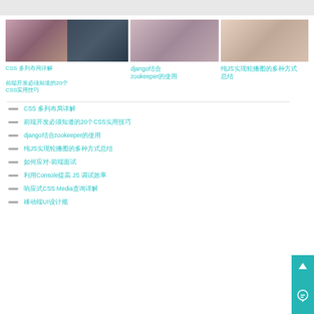[Figure (photo): Woman in black outfit]
[Figure (photo): Man at computer (hacker)]
[Figure (photo): Woman in black]
[Figure (photo): Woman in black outfit]
CSS 多列布局详解
前端开发必须知道的20个CSS实用技巧
django结合zookeeper的使用
纯JS实现轮播图的多种方式总结
CSS 多列布局详解
前端开发必须知道的20个CSS实用技巧
django结合zookeeper的使用
纯JS实现轮播图的多种方式总结
如何应对-前端面试
利用Console提高 JS 调试效率
响应式CSS Media查询详解
移动端UI设计规